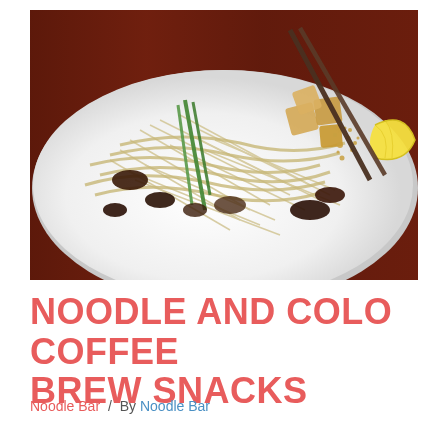[Figure (photo): A white plate of Asian noodle dish with bean sprouts, tofu cubes, green onions, meat, crushed peanuts, and a lemon wedge, held with chopsticks on a dark wooden table.]
NOODLE AND COLO COFFEE BREW SNACKS
Noodle Bar / By Noodle Bar